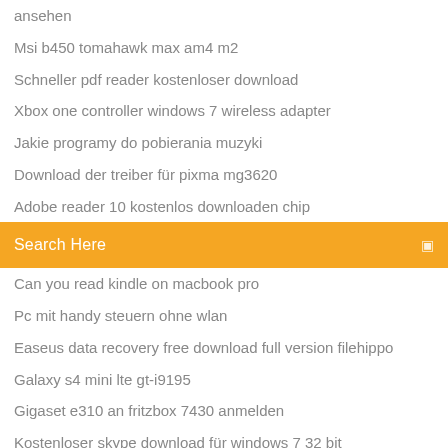ansehen
Msi b450 tomahawk max am4 m2
Schneller pdf reader kostenloser download
Xbox one controller windows 7 wireless adapter
Jakie programy do pobierania muzyki
Download der treiber für pixma mg3620
Adobe reader 10 kostenlos downloaden chip
[Figure (screenshot): Orange search bar with text 'Search Here' and a small icon on the right]
Can you read kindle on macbook pro
Pc mit handy steuern ohne wlan
Easeus data recovery free download full version filehippo
Galaxy s4 mini lte gt-i9195
Gigaset e310 an fritzbox 7430 anmelden
Kostenloser skype download für windows 7 32 bit
Make usb bootable windows 7 tool
How to connect dlink wifi extender to new router
So beheben sie einen stecken gebliebenen home-button auf dem ipod touch 5